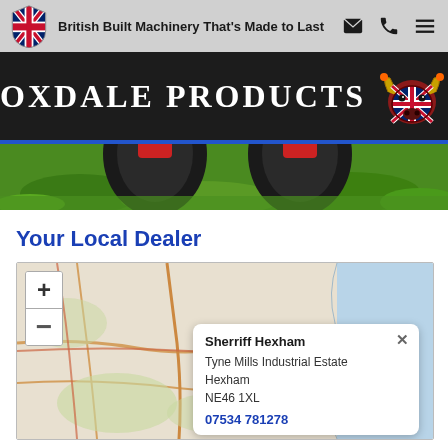British Built Machinery That's Made to Last
[Figure (logo): Oxdale Products logo with bull head wearing Union Jack]
[Figure (photo): Close-up of lawn mower wheels on green grass]
Your Local Dealer
[Figure (map): Interactive map showing dealer location near Hexham, with zoom controls and popup showing Sherriff Hexham dealer details]
Sherriff Hexham
Tyne Mills Industrial Estate
Hexham
NE46 1XL
07534 781278